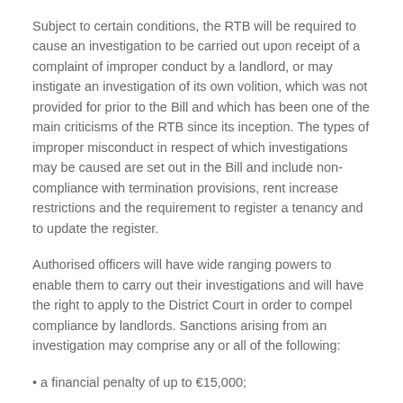Subject to certain conditions, the RTB will be required to cause an investigation to be carried out upon receipt of a complaint of improper conduct by a landlord, or may instigate an investigation of its own volition, which was not provided for prior to the Bill and which has been one of the main criticisms of the RTB since its inception. The types of improper misconduct in respect of which investigations may be caused are set out in the Bill and include non-compliance with termination provisions, rent increase restrictions and the requirement to register a tenancy and to update the register.
Authorised officers will have wide ranging powers to enable them to carry out their investigations and will have the right to apply to the District Court in order to compel compliance by landlords. Sanctions arising from an investigation may comprise any or all of the following:
• a financial penalty of up to €15,000;
• payment of RTB investigation costs of up to €15,000; and
• a written caution.
The RTB is obliged to publish particulars of the sanction imposed and